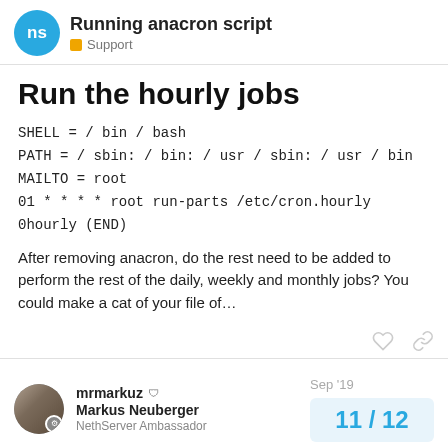Running anacron script — Support
Run the hourly jobs
SHELL = / bin / bash
PATH = / sbin: / bin: / usr / sbin: / usr / bin
MAILTO = root
01 * * * * root run-parts /etc/cron.hourly
0hourly (END)
After removing anacron, do the rest need to be added to perform the rest of the daily, weekly and monthly jobs? You could make a cat of your file of…
mrmarkuz  Markus Neuberger  NethServer Ambassador  Sep '19  11 / 12